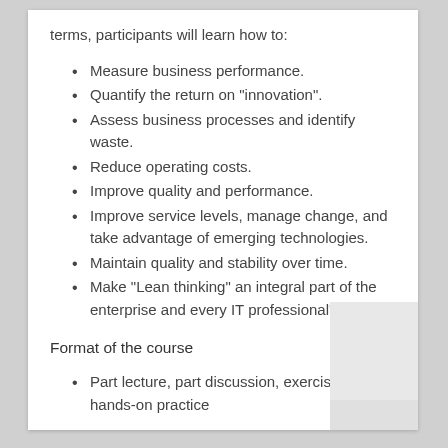terms, participants will learn how to:
Measure business performance.
Quantify the return on "innovation".
Assess business processes and identify waste.
Reduce operating costs.
Improve quality and performance.
Improve service levels, manage change, and take advantage of emerging technologies.
Maintain quality and stability over time.
Make "Lean thinking" an integral part of the enterprise and every IT professional's toolkit.
Format of the course
Part lecture, part discussion, exercises and hands-on practice